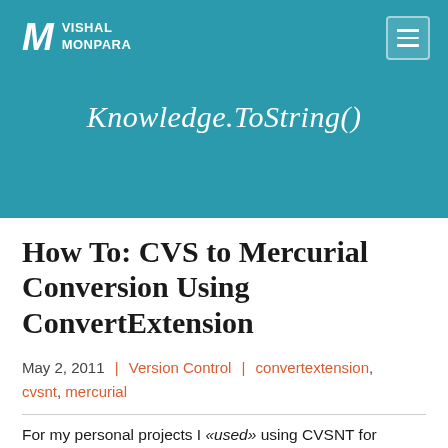VISHAL MONPARA
Knowledge.ToString()
How To: CVS to Mercurial Conversion Using ConvertExtension
May 2, 2011 | Version Control | convertextension, cvsnt, mercurial
For my personal projects I "used" using CVSNT for